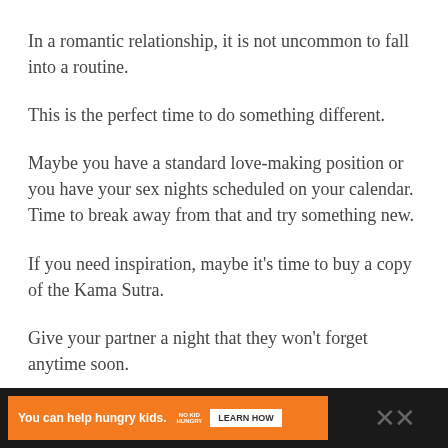In a romantic relationship, it is not uncommon to fall into a routine.
This is the perfect time to do something different.
Maybe you have a standard love-making position or you have your sex nights scheduled on your calendar. Time to break away from that and try something new.
If you need inspiration, maybe it’s time to buy a copy of the Kama Sutra.
Give your partner a night that they won’t forget anytime soon.
[Figure (other): Advertisement banner: orange background with text 'You can help hungry kids.' with No Kid Hungry logo and 'LEARN HOW' button on dark background]